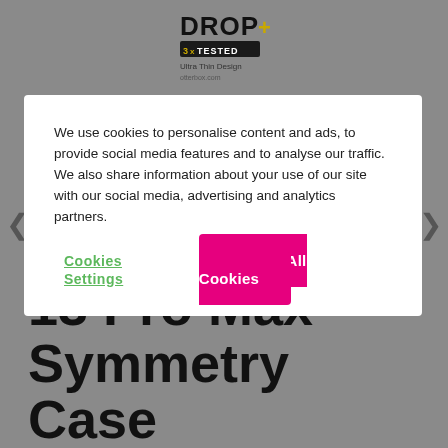[Figure (logo): DROP+ 3x TESTED badge logo with 'Ultra Thin Design' text below, partially visible product image in background]
We use cookies to personalise content and ads, to provide social media features and to analyse our traffic. We also share information about your use of our site with our social media, advertising and analytics partners.
Cookies Settings
Accept All Cookies
OtterBox iPhone 13 Pro Max Symmetry Case